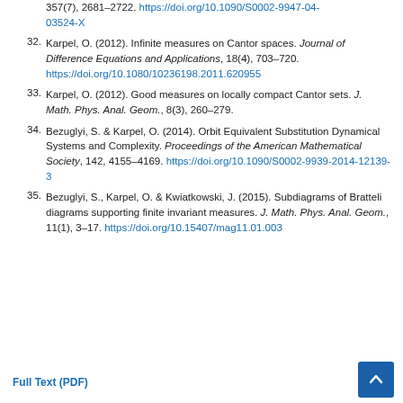357(7), 2681–2722. https://doi.org/10.1090/S0002-9947-04-03524-X
32. Karpel, O. (2012). Infinite measures on Cantor spaces. Journal of Difference Equations and Applications, 18(4), 703–720. https://doi.org/10.1080/10236198.2011.620955
33. Karpel, O. (2012). Good measures on locally compact Cantor sets. J. Math. Phys. Anal. Geom., 8(3), 260–279.
34. Bezuglyi, S. & Karpel, O. (2014). Orbit Equivalent Substitution Dynamical Systems and Complexity. Proceedings of the American Mathematical Society, 142, 4155–4169. https://doi.org/10.1090/S0002-9939-2014-12139-3
35. Bezuglyi, S., Karpel, O. & Kwiatkowski, J. (2015). Subdiagrams of Bratteli diagrams supporting finite invariant measures. J. Math. Phys. Anal. Geom., 11(1), 3–17. https://doi.org/10.15407/mag11.01.003
Full Text (PDF)